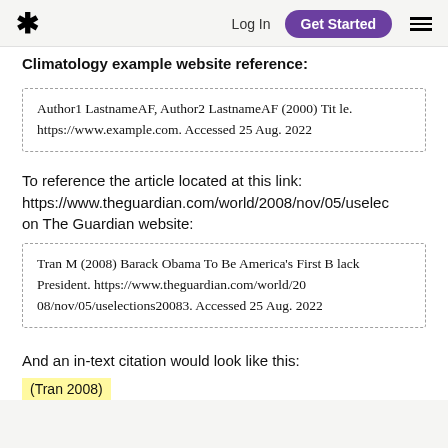* Log In Get Started ≡
Climatology example website reference:
Author1 LastnameAF, Author2 LastnameAF (2000) Title. https://www.example.com. Accessed 25 Aug. 2022
To reference the article located at this link: https://www.theguardian.com/world/2008/nov/05/uselec on The Guardian website:
Tran M (2008) Barack Obama To Be America's First Black President. https://www.theguardian.com/world/2008/nov/05/uselections20083. Accessed 25 Aug. 2022
And an in-text citation would look like this:
(Tran 2008)